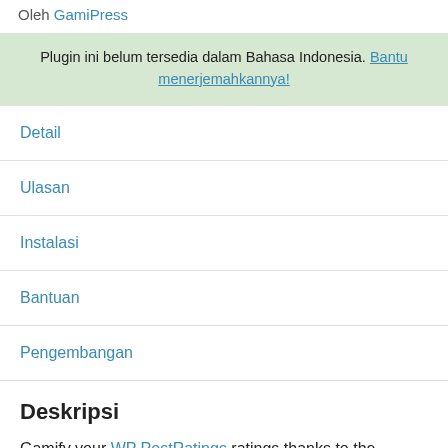Oleh GamiPress
Plugin ini belum tersedia dalam Bahasa Indonesia. Bantu menerjemahkannya!
Detail
Ulasan
Instalasi
Bantuan
Pengembangan
Deskripsi
Gamify your WP PostRatings ratings thanks to the powerful gamification plugin, GamiPress!